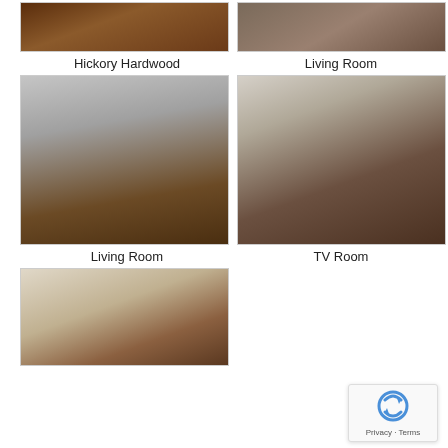[Figure (photo): Close-up of hickory hardwood flooring, dark warm wood tones]
[Figure (photo): Living room view showing hardwood floor and furniture]
Hickory Hardwood
Living Room
[Figure (photo): Living room interior with sofa, coffee table and hardwood floors]
[Figure (photo): TV room with recliners and shiny hardwood floors]
Living Room
TV Room
[Figure (photo): Room with fireplace mantle, framed pictures and arched windows]
[Figure (other): Google reCAPTCHA widget with Privacy and Terms links]